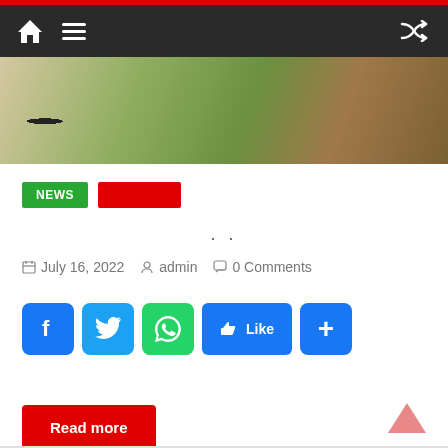Navigation bar with home icon, hamburger menu, and shuffle icon
[Figure (photo): Cropped outdoor photograph showing animal legs and grass/ground background]
NEWS [red tag]
...
July 16, 2022  admin  0 Comments
[Figure (other): Social sharing buttons: Facebook, Twitter, WhatsApp, Like, and add (+) button]
Read more
[Figure (other): Up arrow back-to-top button]